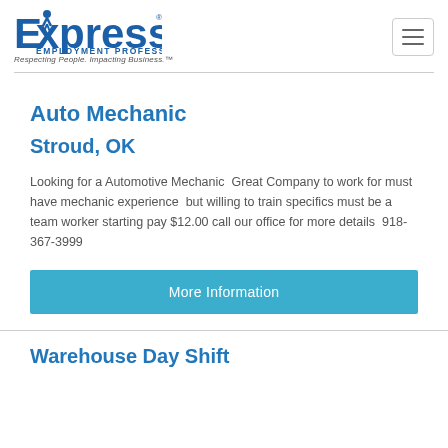[Figure (logo): Express Employment Professionals logo with tagline 'Respecting People. Impacting Business.']
Auto Mechanic
Stroud, OK
Looking for a Automotive Mechanic  Great Company to work for must have mechanic experience  but willing to train specifics must be a team worker starting pay $12.00 call our office for more details  918-367-3999
More Information
Warehouse Day Shift